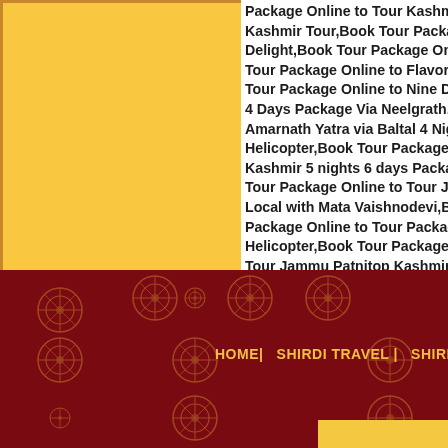Package Online to Tour Kashmir, Kashmir Tour,Book Tour Package Delight,Book Tour Package Online to Flavors O Tour Package Online to Nine Devi 4 Days Package Via Neelgrath,Bo Amarnath Yatra via Baltal 4 Nig Helicopter,Book Tour Package On Kashmir 5 nights 6 days Package Tour Package Online to Tour Jam Local with Mata Vaishnodevi,Book Package Online to Tour Package J Helicopter,Book Tour Package On Tour Jammu Patnitop Kashmir Kat
HOME| SHIRDI TRAVEL | SHIRDI SA